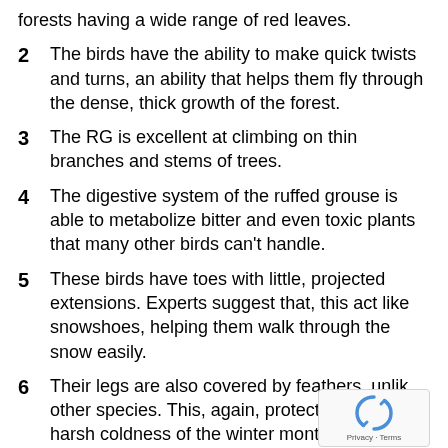forests having a wide range of red leaves.
2  The birds have the ability to make quick twists and turns, an ability that helps them fly through the dense, thick growth of the forest.
3  The RG is excellent at climbing on thin branches and stems of trees.
4  The digestive system of the ruffed grouse is able to metabolize bitter and even toxic plants that many other birds can't handle.
5  These birds have toes with little, projected extensions. Experts suggest that, this act like snowshoes, helping them walk through the snow easily.
6  Their legs are also covered by feathers, unlike other species. This, again, protects them from the harsh coldness of the winter months.